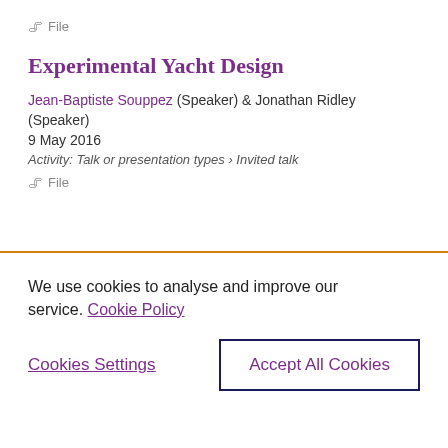📎 File
Experimental Yacht Design
Jean-Baptiste Souppez (Speaker) & Jonathan Ridley (Speaker)
9 May 2016
Activity: Talk or presentation types › Invited talk
📎 File
We use cookies to analyse and improve our service. Cookie Policy
Cookies Settings
Accept All Cookies